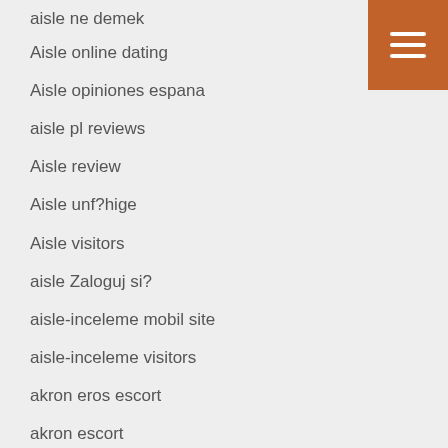aisle ne demek
Aisle online dating
Aisle opiniones espana
aisle pl reviews
Aisle review
Aisle unf?hige
Aisle visitors
aisle Zaloguj si?
aisle-inceleme mobil site
aisle-inceleme visitors
akron eros escort
akron escort
akron escort radar
[Figure (other): Orange hamburger menu button with three white horizontal lines in top-right corner]